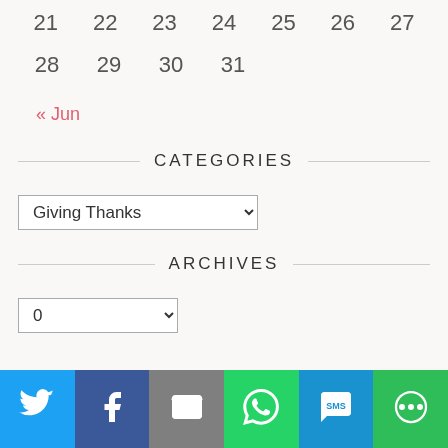21  22  23  24  25  26  27
28  29  30  31
« Jun
CATEGORIES
Giving Thanks (dropdown)
ARCHIVES
0 (dropdown)
[Figure (infographic): Social media share bar with Twitter, Facebook, Email, WhatsApp, SMS, and More buttons]